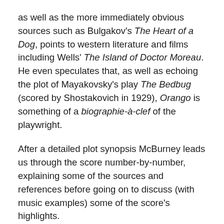as well as the more immediately obvious sources such as Bulgakov's The Heart of a Dog, points to western literature and films including Wells' The Island of Doctor Moreau. He even speculates that, as well as echoing the plot of Mayakovsky's play The Bedbug (scored by Shostakovich in 1929), Orango is something of a biographie-à-clef of the playwright.
After a detailed plot synopsis McBurney leads us through the score number-by-number, explaining some of the sources and references before going on to discuss (with music examples) some of the score's highlights.
Anyone who has thought about it knows that comedy is no laughing matter, as the 1930s attacks on 'light music' into which Shostakovich was drawn, show. Shostakovich manages to cram countless references to his own and others' work into Orango. Musorgsky and the end of Boris Godunov is certainly there as is Tchaikovsky's